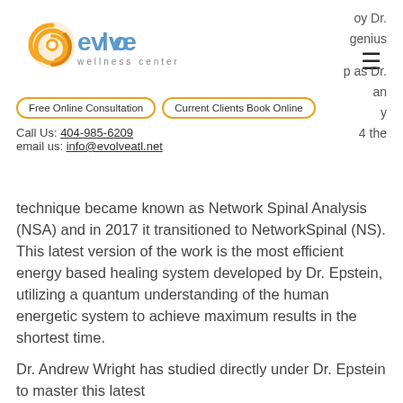[Figure (logo): Evolve Wellness Center logo with orange swirl icon and text 'evolve wellness center']
oy Dr.
genius
p as Dr.
an
y
4 the
Free Online Consultation   Current Clients Book Online
Call Us: 404-985-6209
email us: info@evolveatl.net
technique became known as Network Spinal Analysis (NSA) and in 2017 it transitioned to NetworkSpinal (NS). This latest version of the work is the most efficient energy based healing system developed by Dr. Epstein, utilizing a quantum understanding of the human energetic system to achieve maximum results in the shortest time.
Dr. Andrew Wright has studied directly under Dr. Epstein to master this latest